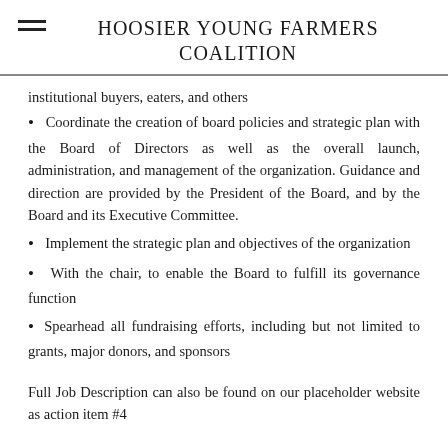HOOSIER YOUNG FARMERS COALITION
institutional buyers, eaters, and others
Coordinate the creation of board policies and strategic plan with the Board of Directors as well as the overall launch, administration, and management of the organization. Guidance and direction are provided by the President of the Board, and by the Board and its Executive Committee.
Implement the strategic plan and objectives of the organization
With the chair, to enable the Board to fulfill its governance function
Spearhead all fundraising efforts, including but not limited to grants, major donors, and sponsors
Full Job Description can also be found on our placeholder website as action item #4